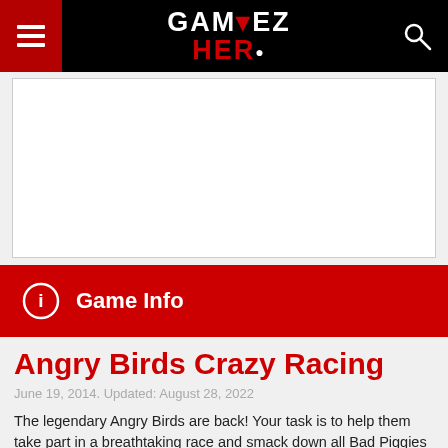[Figure (logo): Gamez Hero website header with hamburger menu on red background left, GAMEZ HERO logo in white and red center, search icon right on black background]
[Figure (other): Advertisement placeholder box with light border]
Game Info
Angry Birds Crazy Racing
June 19, 2014. Updated: August 28, 2022
The legendary Angry Birds are back! Your task is to help them take part in a breathtaking race and smack down all Bad Piggies on their way. You must be very careful and precious to beat all your opponents! The legendary Angry Birds are coming back on your